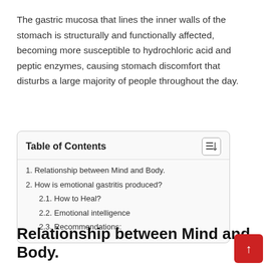The gastric mucosa that lines the inner walls of the stomach is structurally and functionally affected, becoming more susceptible to hydrochloric acid and peptic enzymes, causing stomach discomfort that disturbs a large majority of people throughout the day.
| 1. Relationship between Mind and Body. |
| 2. How is emotional gastritis produced? |
| 2.1. How to Heal? |
| 2.2. Emotional intelligence |
| 2.3. Recommendations: |
Relationship between Mind and Body.